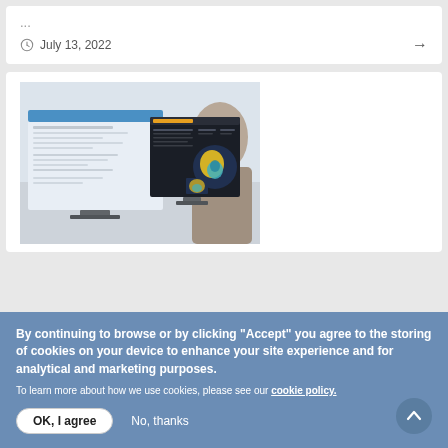...
July 13, 2022
[Figure (screenshot): Person sitting in front of two computer monitors displaying medical imaging and analytical software, including a 3D heart model on one screen]
By continuing to browse or by clicking "Accept" you agree to the storing of cookies on your device to enhance your site experience and for analytical and marketing purposes.
To learn more about how we use cookies, please see our cookie policy.
OK, I agree
No, thanks